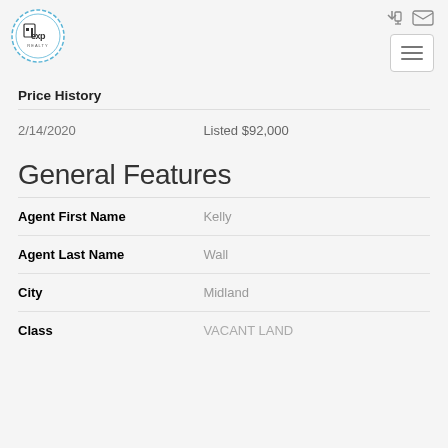[Figure (logo): Bricks exp Realty circular logo]
Price History
| Date | Event |
| --- | --- |
| 2/14/2020 | Listed $92,000 |
General Features
| Field | Value |
| --- | --- |
| Agent First Name | Kelly |
| Agent Last Name | Wall |
| City | Midland |
| Class | VACANT LAND |